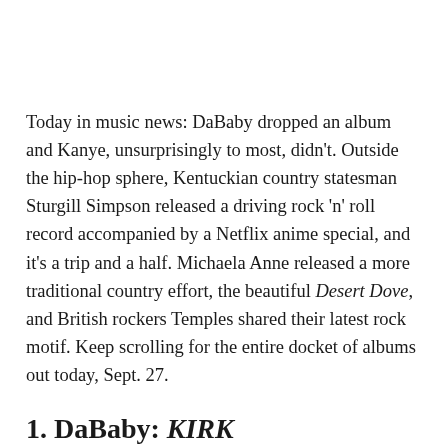Today in music news: DaBaby dropped an album and Kanye, unsurprisingly to most, didn't. Outside the hip-hop sphere, Kentuckian country statesman Sturgill Simpson released a driving rock 'n' roll record accompanied by a Netflix anime special, and it's a trip and a half. Michaela Anne released a more traditional country effort, the beautiful Desert Dove, and British rockers Temples shared their latest rock motif. Keep scrolling for the entire docket of albums out today, Sept. 27.
1. DaBaby: KIRK
Charlotte rapper DaBaby dropped a new record today, already his second out this year. KIRK is named after DaBaby's dad, lost to a gunshot wound likely at one of